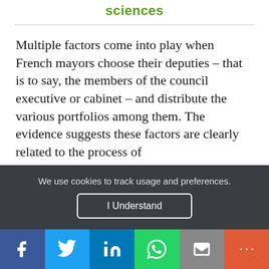sciences
Multiple factors come into play when French mayors choose their deputies – that is to say, the members of the council executive or cabinet – and distribute the various portfolios among them. The evidence suggests these factors are clearly related to the process of
We use cookies to track usage and preferences.
I Understand
f  🐦  in  📞  ✉  +